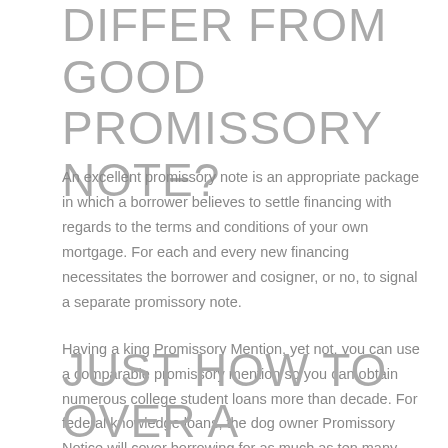DIFFER FROM GOOD PROMISSORY NOTE?
An excellent promissory note is an appropriate package in which a borrower believes to settle financing with regards to the terms and conditions of your own mortgage. For each and every new financing necessitates the borrower and cosigner, or no, to signal a separate promissory note.
Having a king Promissory Mention, yet not, you can use a comparable promissory mention so you can obtain numerous college student loans more than decade. For federal knowledge loans, the dog owner Promissory Notice will cover borrowing for as much as ten many years of continued subscription.
JUST HOW TO OVER A